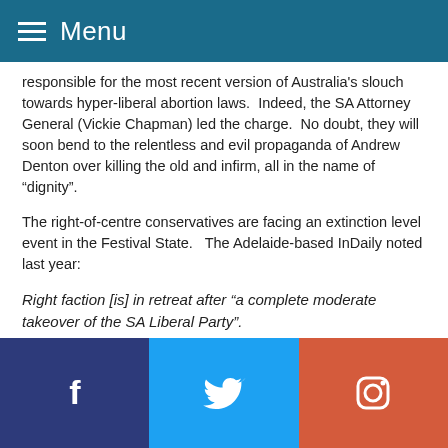Menu
responsible for the most recent version of Australia's slouch towards hyper-liberal abortion laws.  Indeed, the SA Attorney General (Vickie Chapman) led the charge.  No doubt, they will soon bend to the relentless and evil propaganda of Andrew Denton over killing the old and infirm, all in the name of “dignity”.
The right-of-centre conservatives are facing an extinction level event in the Festival State.   The Adelaide-based InDaily noted last year:
Right faction [is] in retreat after “a complete moderate takeover of the SA Liberal Party”.
According to one very well-informed insider stated in relation to the recent Boothby pre-selection:
On Saturday the left of the Liberal Party elected...